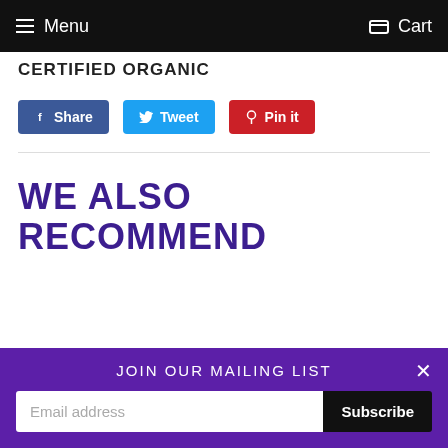Menu   Cart
CERTIFIED ORGANIC
Share   Tweet   Pin it
WE ALSO RECOMMEND
JOIN OUR MAILING LIST
Email address   Subscribe